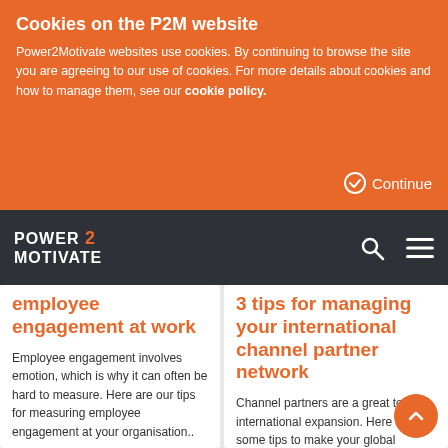Cookies on the P2M website
Power2Motivate websites use cookies. By continuing to browse the site you are agreeing to our use of cookies. For more details about cookies and how to manage them, see our cookie policy.
Continue
[Figure (logo): POWER 2 MOTIVATE logo in white text on dark background with search and menu icons]
employee engagement at work
Employee engagement involves emotion, which is why it can often be hard to measure. Here are our tips for measuring employee engagement at your organisation..
13.01.2019
3 tips for managing your international channel partner network
Channel partners are a great tool for international expansion. Here are some tips to make your global channel partner network a success. .
10.01.2019